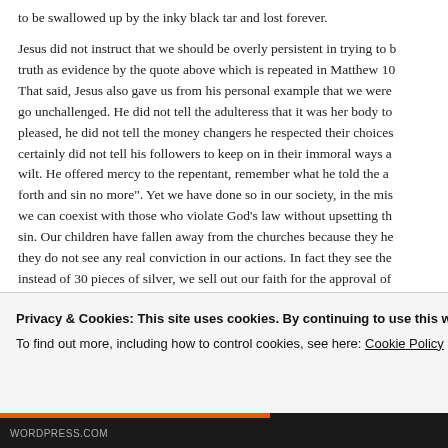to be swallowed up by the inky black tar and lost forever.

Jesus did not instruct that we should be overly persistent in trying to b... truth as evidence by the quote above which is repeated in Matthew 10... That said, Jesus also gave us from his personal example that we were... go unchallenged. He did not tell the adulteress that it was her body to... pleased, he did not tell the money changers he respected their choices... certainly did not tell his followers to keep on in their immoral ways a... wilt. He offered mercy to the repentant, remember what he told the a... forth and sin no more". Yet we have done so in our society, in the mis... we can coexist with those who violate God's law without upsetting th... sin. Our children have fallen away from the churches because they he... they do not see any real conviction in our actions. In fact they see th... instead of 30 pieces of silver, we sell out our faith for the approval o... unrepentant perpetrators of evil actions into our lives and act surprise... who are corrupted by allowing ourselves to tell the lie that "it does no...
Privacy & Cookies: This site uses cookies. By continuing to use this website, you agree to their use.
To find out more, including how to control cookies, see here: Cookie Policy
Close and accept